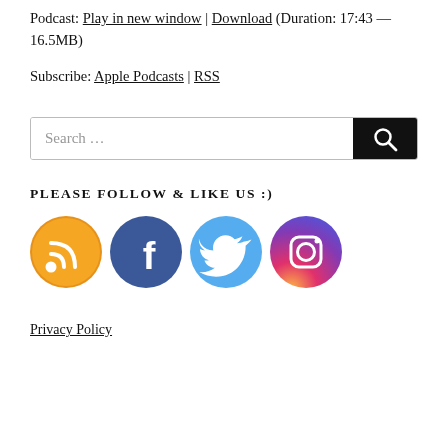Podcast: Play in new window | Download (Duration: 17:43 — 16.5MB)
Subscribe: Apple Podcasts | RSS
[Figure (other): Search bar with text input field showing 'Search ...' placeholder and a black search button with magnifying glass icon]
PLEASE FOLLOW & LIKE US :)
[Figure (infographic): Four circular social media icons in a row: RSS (orange), Facebook (blue), Twitter (light blue), Instagram (purple/pink gradient)]
Privacy Policy